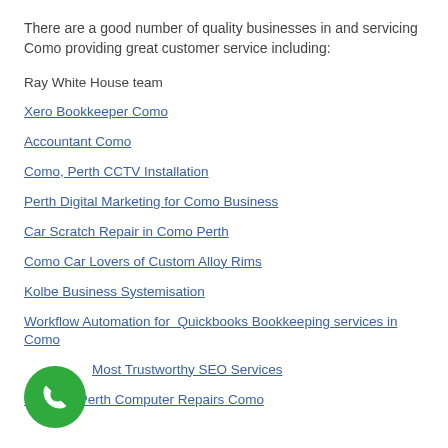There are a good number of quality businesses in and servicing Como providing great customer service including:
Ray White House team
Xero Bookkeeper Como
Accountant Como
Como, Perth CCTV Installation
Perth Digital Marketing for Como Business
Car Scratch Repair in Como Perth
Como Car Lovers of Custom Alloy Rims
Kolbe Business Systemisation
Workflow Automation for  Quickbooks Bookkeeping services in Como
Most Trustworthy SEO Services
Gold PC Perth Computer Repairs Como